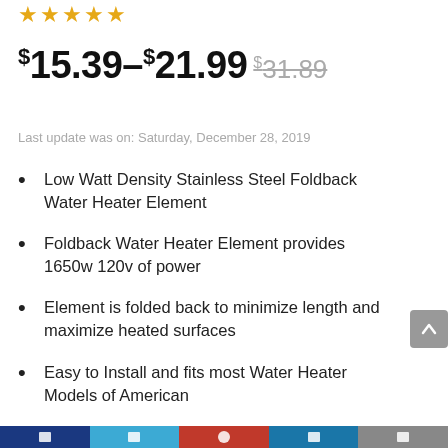[Figure (other): Five orange star rating icons]
$15.39–$21.99 $31.89 (strikethrough)
Last update was on: Saturday, December 28, 2019
Low Watt Density Stainless Steel Foldback Water Heater Element
Foldback Water Heater Element provides 1650w 120v of power
Element is folded back to minimize length and maximize heated surfaces
Easy to Install and fits most Water Heater Models of American
Resists dry firing, lime deposits, and sand that
Social share bar